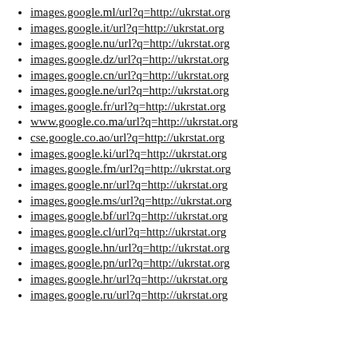images.google.ml/url?q=http://ukrstat.org
images.google.it/url?q=http://ukrstat.org
images.google.nu/url?q=http://ukrstat.org
images.google.dz/url?q=http://ukrstat.org
images.google.cn/url?q=http://ukrstat.org
images.google.ne/url?q=http://ukrstat.org
images.google.fr/url?q=http://ukrstat.org
www.google.co.ma/url?q=http://ukrstat.org
cse.google.co.ao/url?q=http://ukrstat.org
images.google.ki/url?q=http://ukrstat.org
images.google.fm/url?q=http://ukrstat.org
images.google.nr/url?q=http://ukrstat.org
images.google.ms/url?q=http://ukrstat.org
images.google.bf/url?q=http://ukrstat.org
images.google.cl/url?q=http://ukrstat.org
images.google.hn/url?q=http://ukrstat.org
images.google.pn/url?q=http://ukrstat.org
images.google.hr/url?q=http://ukrstat.org
images.google.ru/url?q=http://ukrstat.org